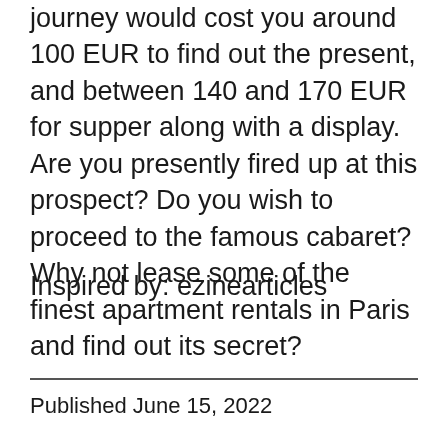journey would cost you around 100 EUR to find out the present, and between 140 and 170 EUR for supper along with a display. Are you presently fired up at this prospect? Do you wish to proceed to the famous cabaret? Why not lease some of the finest apartment rentals in Paris and find out its secret?
Inspired by: ezinearticles
Published June 15, 2022